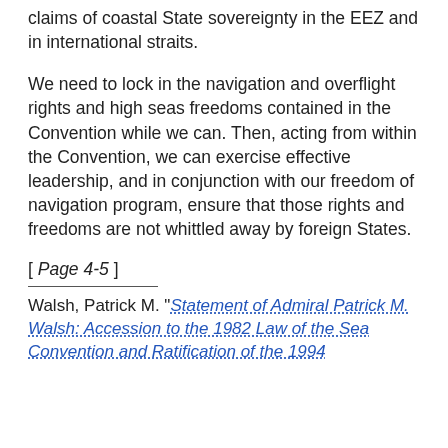claims of coastal State sovereignty in the EEZ and in international straits.
We need to lock in the navigation and overflight rights and high seas freedoms contained in the Convention while we can. Then, acting from within the Convention, we can exercise effective leadership, and in conjunction with our freedom of navigation program, ensure that those rights and freedoms are not whittled away by foreign States.
[ Page 4-5 ]
Walsh, Patrick M. "Statement of Admiral Patrick M. Walsh: Accession to the 1982 Law of the Sea Convention and Ratification of the 1994